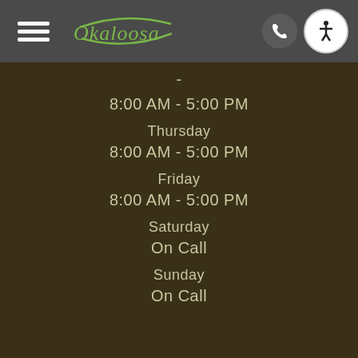[Figure (screenshot): Website header with hamburger menu icon, Okaloosa cursive logo in green, phone button, and accessibility icon button on dark gray background]
8:00 AM - 5:00 PM
Thursday
8:00 AM - 5:00 PM
Friday
8:00 AM - 5:00 PM
Saturday
On Call
Sunday
On Call